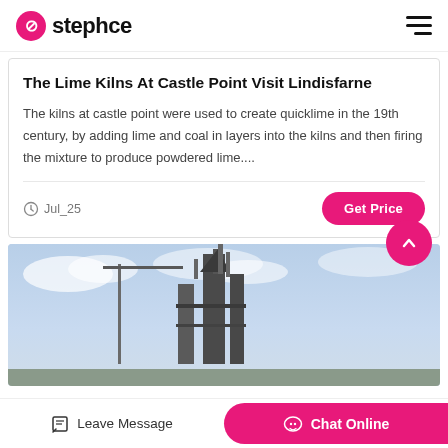stephce
The Lime Kilns At Castle Point Visit Lindisfarne
The kilns at castle point were used to create quicklime in the 19th century, by adding lime and coal in layers into the kilns and then firing the mixture to produce powdered lime....
Jul_25
[Figure (photo): Industrial lime kiln or similar tall industrial structure with silos, pipes, and cranes against a cloudy blue sky]
Leave Message
Chat Online